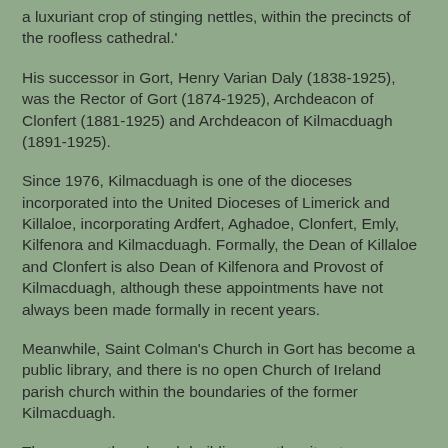a luxuriant crop of stinging nettles, within the precincts of the roofless cathedral.'
His successor in Gort, Henry Varian Daly (1838-1925), was the Rector of Gort (1874-1925), Archdeacon of Clonfert (1881-1925) and Archdeacon of Kilmacduagh (1891-1925).
Since 1976, Kilmacduagh is one of the dioceses incorporated into the United Dioceses of Limerick and Killaloe, incorporating Ardfert, Aghadoe, Clonfert, Emly, Kilfenora and Kilmacduagh. Formally, the Dean of Killaloe and Clonfert is also Dean of Kilfenora and Provost of Kilmacduagh, although these appointments have not always been made formally in recent years.
Meanwhile, Saint Colman's Church in Gort has become a public library, and there is no open Church of Ireland parish church within the boundaries of the former Kilmacduagh.
The seven other church buildings on the site at Kilmacduagh are: